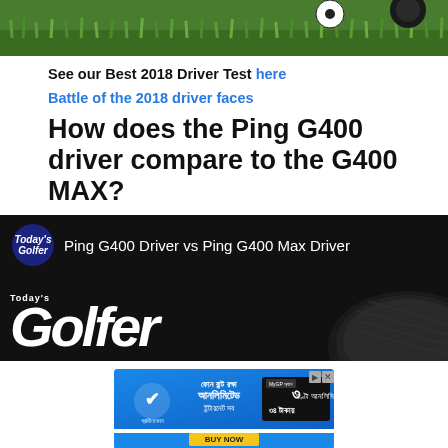[Figure (photo): Top portion of a grass/golf course image with soccer balls visible, cropped at top]
See our Best 2018 Driver Test here
Battle of the 2018 driver faces
How does the Ping G400 driver compare to the G400 MAX?
[Figure (screenshot): Embedded video thumbnail: Today's Golfer - Ping G400 Driver vs Ping G400 Max Driver, dark background with golf driver image]
[Figure (photo): Advertisement: Grameenphone MyGP app promotion in Bengali - 3 hour unlimited internet for 34 taka, Buy Now button]